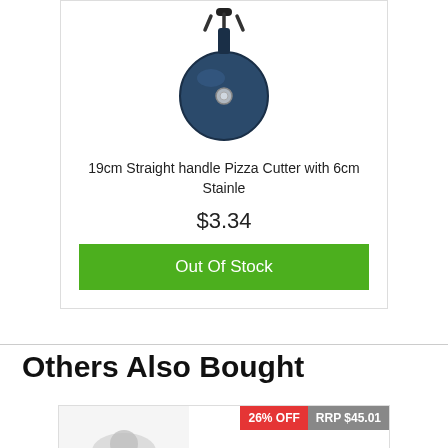[Figure (photo): Pizza cutter with straight handle, top-down view showing circular blade and handle with bolt]
19cm Straight handle Pizza Cutter with 6cm Stainle
$3.34
Out Of Stock
Others Also Bought
26% OFF
RRP $45.01